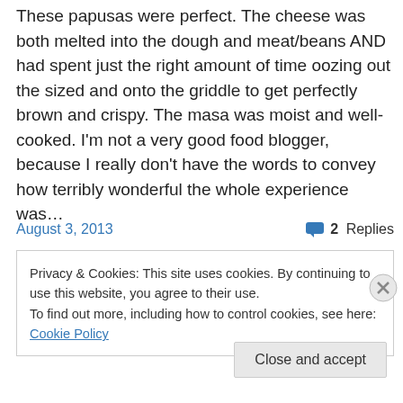These papusas were perfect. The cheese was both melted into the dough and meat/beans AND had spent just the right amount of time oozing out the sized and onto the griddle to get perfectly brown and crispy. The masa was moist and well-cooked. I'm not a very good food blogger, because I really don't have the words to convey how terribly wonderful the whole experience was…
August 3, 2013
2 Replies
Privacy & Cookies: This site uses cookies. By continuing to use this website, you agree to their use.
To find out more, including how to control cookies, see here: Cookie Policy
Close and accept